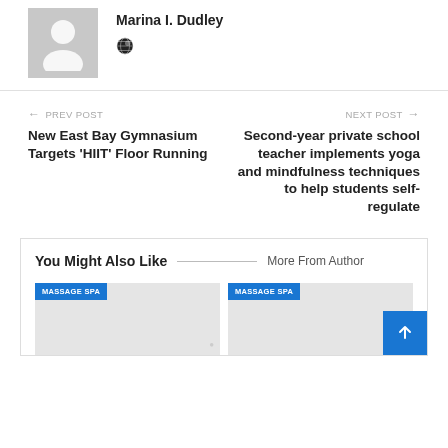Marina I. Dudley
[Figure (illustration): Gray avatar silhouette placeholder image]
[Figure (illustration): Globe/world icon]
← PREV POST
New East Bay Gymnasium Targets 'HIIT' Floor Running
NEXT POST →
Second-year private school teacher implements yoga and mindfulness techniques to help students self-regulate
You Might Also Like
More From Author
MASSAGE SPA
MASSAGE SPA